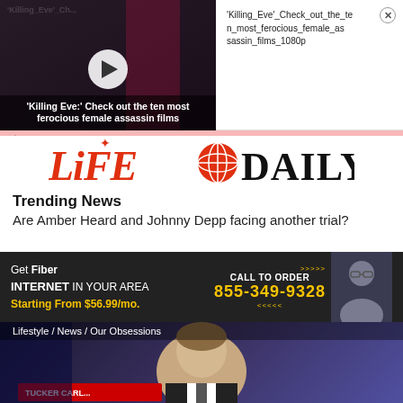[Figure (screenshot): Video thumbnail showing 'Killing Eve' with play button and title overlay: 'Killing Eve: Check out the ten most ferocious female assassin films']
'Killing_Eve'_Check_out_the_ten_most_ferocious_female_assassin_films_1080p
[Figure (logo): Life Daily logo with red italic 'LiFE' text, globe icon, and bold black 'DAILY' text]
Trending News
Are Amber Heard and Johnny Depp facing another trial?
[Figure (infographic): Advertisement banner: Get Fiber INTERNET IN YOUR AREA Starting From $56.99/mo. CALL TO ORDER 855-349-9328, with person photo on right]
[Figure (photo): Tucker Carlson on Fox News set with 'Tucker Carl...' lower third. Navigation: Lifestyle / News / Our Obsessions]